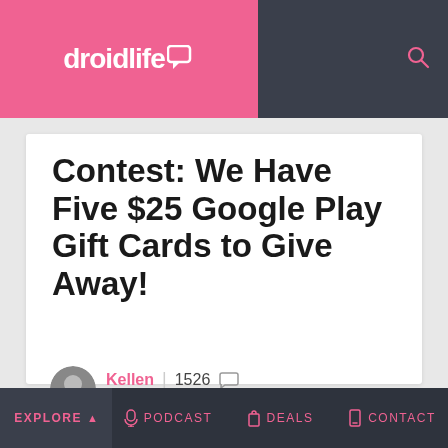droidlife — navigation header with logo and search icon
Contest: We Have Five $25 Google Play Gift Cards to Give Away!
Kellen | 1526 comments — October 16, 2013
Share  f 148  🐦 0  reddit
We may earn a commission when you click links to retailers and purchase goods. More info.
Explore  Podcast  Deals  Contact